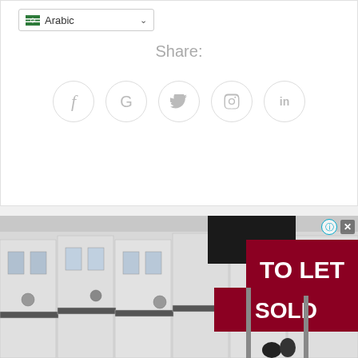[Figure (screenshot): Language selector dropdown showing Arabic with Saudi Arabia flag icon and chevron]
Share:
[Figure (infographic): Row of five circular social sharing buttons: Facebook (f), Google (G), Twitter (bird), Pinterest (p), LinkedIn (in)]
[Figure (photo): Advertisement photo showing a row of white Victorian terraced houses with red real estate signs reading 'TO LET' and 'SOLD' in white text on dark red background. Top-right corner shows info and close (X) ad controls.]